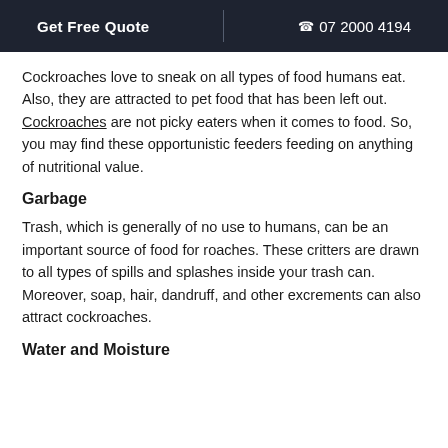Get Free Quote | ☎ 07 2000 4194
Cockroaches love to sneak on all types of food humans eat. Also, they are attracted to pet food that has been left out. Cockroaches are not picky eaters when it comes to food. So, you may find these opportunistic feeders feeding on anything of nutritional value.
Garbage
Trash, which is generally of no use to humans, can be an important source of food for roaches. These critters are drawn to all types of spills and splashes inside your trash can. Moreover, soap, hair, dandruff, and other excrements can also attract cockroaches.
Water and Moisture